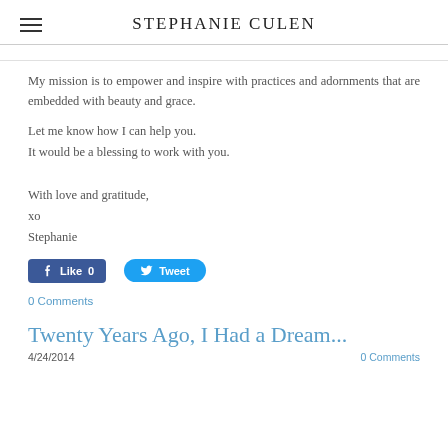STEPHANIE CULEN
My mission is to empower and inspire with practices and adornments that are embedded with beauty and grace.
Let me know how I can help you.
It would be a blessing to work with you.

With love and gratitude,
xo
Stephanie
[Figure (screenshot): Social sharing buttons: Facebook Like (0) and Tweet button]
0 Comments
Twenty Years Ago, I Had a Dream...
4/24/2014    0 Comments